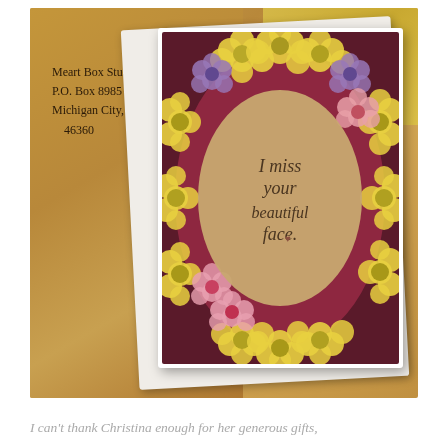[Figure (photo): A photo showing a yellow-brown mailing envelope with handwritten address 'Meart Box Studio. P.O. Box 8985 Michigan City, IN 46360' and a greeting card with colorful flowers (yellow daisies, pink and purple flowers) arranged in a wreath/border around an oval center that reads 'I miss your beautiful face.' The card is white-bordered and sits on top of the envelope.]
I can't thank Christina enough for her generous gifts,